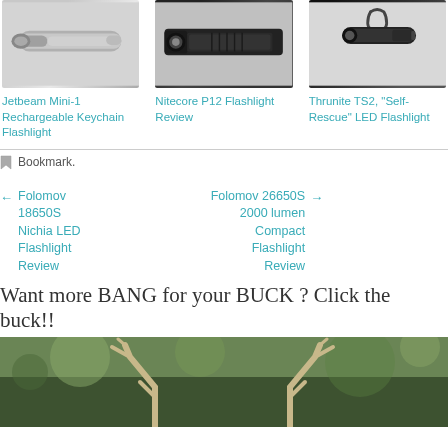[Figure (photo): Three product photos of flashlights in a row: Jetbeam Mini-1 Rechargeable Keychain Flashlight (silver pen-style), Nitecore P12 Flashlight (black tactical flashlight), Thrunite TS2 Self-Rescue LED Flashlight (black with carabiner)]
Jetbeam Mini-1 Rechargeable Keychain Flashlight
Nitecore P12 Flashlight Review
Thrunite TS2, “Self-Rescue” LED Flashlight
Bookmark.
← Folomov 18650S Nichia LED Flashlight Review
Folomov 26650S 2000 lumen Compact Flashlight Review →
Want more BANG for your BUCK ? Click the buck!!
[Figure (photo): Photo of deer antlers against a blurred green forest background]